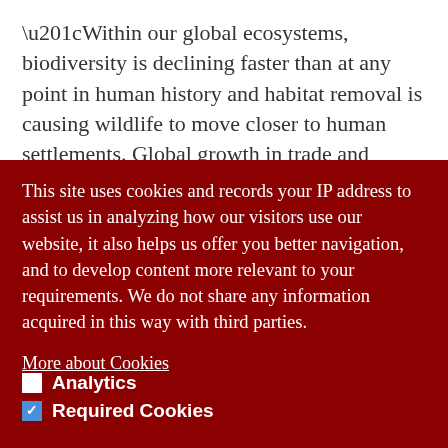“Within our global ecosystems, biodiversity is declining faster than at any point in human history and habitat removal is causing wildlife to move closer to human settlements. Global growth in trade and consumption is enabling the mixing of wildlife, domestic animals
This site uses cookies and records your IP address to assist us in analyzing how our visitors use our website, it also helps us offer you better navigation, and to develop content more relevant to your requirements. We do not share any information acquired in this way with third parties.
More about Cookies
Read the Christ Church Data Privacy Notice
View Privacy Policy
Analytics
Required Cookies